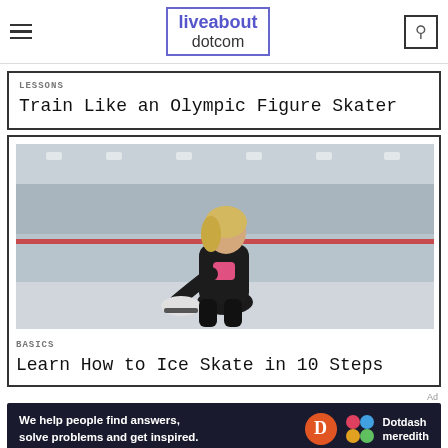liveabout dotcom
LESSONS
Train Like an Olympic Figure Skater
[Figure (photo): Young woman sitting at an ice rink lacing up ice skates, wearing a black jacket and pink shirt, with the rink and boards visible in the background]
BASICS
Learn How to Ice Skate in 10 Steps
Ad
We help people find answers, solve problems and get inspired. Dotdash meredith